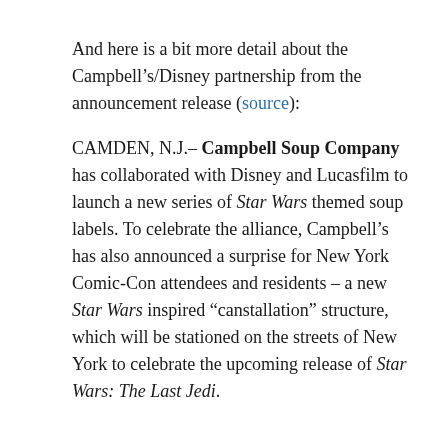And here is a bit more detail about the Campbell’s/Disney partnership from the announcement release (source):
CAMDEN, N.J.– Campbell Soup Company has collaborated with Disney and Lucasfilm to launch a new series of Star Wars themed soup labels. To celebrate the alliance, Campbell’s has also announced a surprise for New York Comic-Con attendees and residents – a new Star Wars inspired “canstallation” structure, which will be stationed on the streets of New York to celebrate the upcoming release of Star Wars: The Last Jedi.